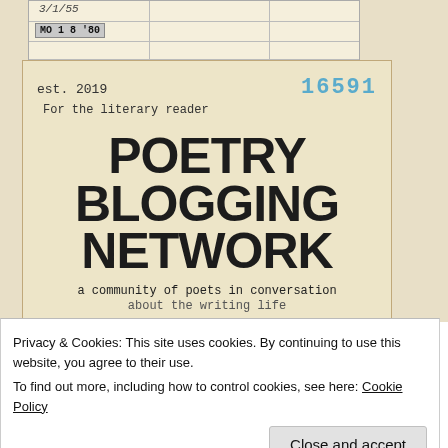[Figure (photo): Library card pocket / envelope with handwritten date '3/1/55', stamped 'MO 1 8 80', with cream-colored card background showing the Poetry Blogging Network logo]
est. 2019
16591
For the literary reader
POETRY BLOGGING NETWORK
a community of poets in conversation about the writing life
Privacy & Cookies: This site uses cookies. By continuing to use this website, you agree to their use.
To find out more, including how to control cookies, see here: Cookie Policy
Close and accept